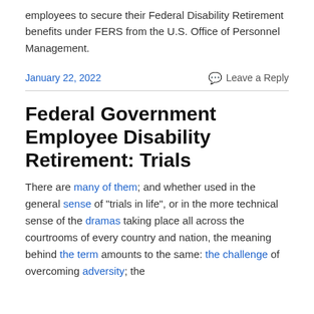employees to secure their Federal Disability Retirement benefits under FERS from the U.S. Office of Personnel Management.
January 22, 2022
Leave a Reply
Federal Government Employee Disability Retirement: Trials
There are many of them; and whether used in the general sense of “trials in life”, or in the more technical sense of the dramas taking place all across the courtrooms of every country and nation, the meaning behind the term amounts to the same: the challenge of overcoming adversity; the